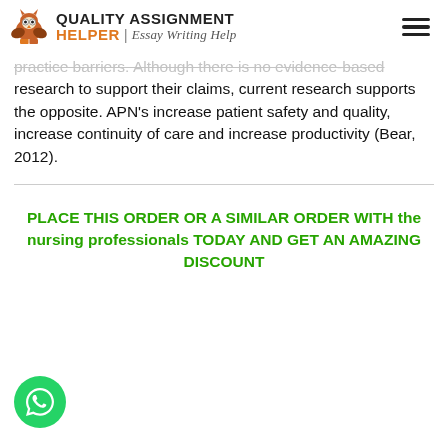QUALITY ASSIGNMENT HELPER | Essay Writing Help
practice barriers. Although there is no evidence-based research to support their claims, current research supports the opposite. APN’s increase patient safety and quality, increase continuity of care and increase productivity (Bear, 2012).
PLACE THIS ORDER OR A SIMILAR ORDER WITH the nursing professionals TODAY AND GET AN AMAZING DISCOUNT
[Figure (logo): WhatsApp phone icon in green circle]